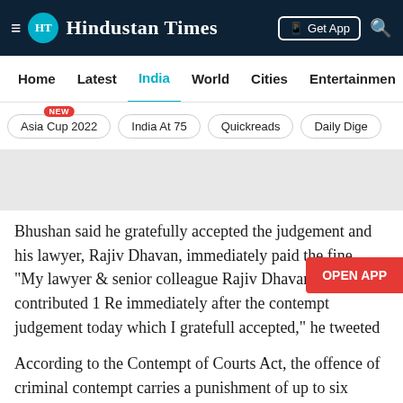Hindustan Times
Home  Latest  India  World  Cities  Entertainment
Asia Cup 2022  India At 75  Quickreads  Daily Dige
[Figure (other): Advertisement banner placeholder]
Bhushan said he gratefully accepted the judgement and his lawyer, Rajiv Dhavan, immediately paid the fine. “My lawyer & senior colleague Rajiv Dhavan contributed 1 Re immediately after the contempt judgement today which I gratefully accepted,” he tweeted
According to the Contempt of Courts Act, the offence of criminal contempt carries a punishment of up to six months in prison or a fine up to Rs 2,000 or both. The court has also barred lawyers found guilty of contempt from practising before it for a limited period while refraining from imposing